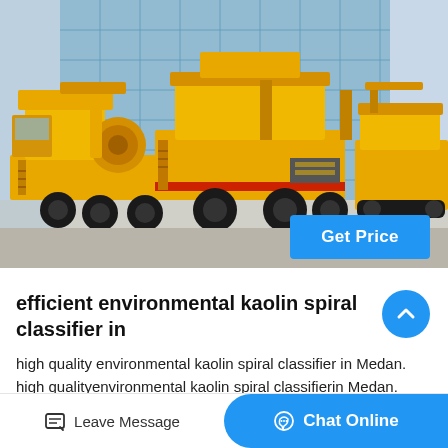[Figure (photo): Yellow industrial mobile crushing/screening machinery parked outdoors in front of a large glass-facade building. Multiple large yellow machines on wheels are shown.]
Get Price
efficient environmental kaolin spiral classifier in
high quality environmental kaolin spiral classifier in Medan. high qualityenvironmental kaolin spiral classifierin Medan. Sand
Leave Message
Chat Online